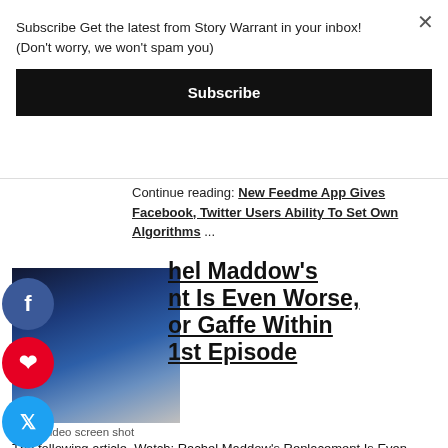× Subscribe Get the latest from Story Warrant in your inbox! (Don't worry, we won't spam you)
Subscribe
Continue reading: New Feedme App Gives Facebook, Twitter Users Ability To Set Own Algorithms ...
[Figure (photo): Video screenshot showing a woman at what appears to be a hearing or press conference with a blue background]
hel Maddow's nt Is Even Worse, or Gaffe Within 1st Episode
AirTV video screen shot
The following article, Watch: Rachel Maddow's Replacement Is Even Worse, Suffers Major Gaffe Within Seconds of 1st Episode,